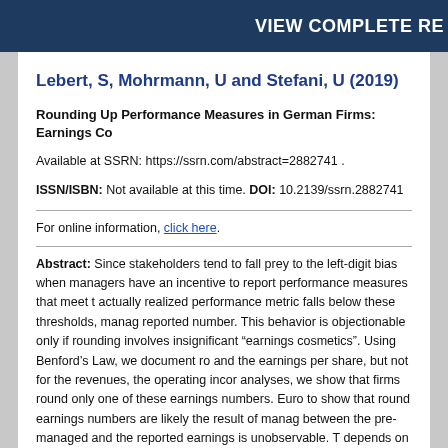VIEW COMPLETE RE
Lebert, S, Mohrmann, U and Stefani, U (2019)
Rounding Up Performance Measures in German Firms: Earnings Co
Available at SSRN: https://ssrn.com/abstract=2882741 .
ISSN/ISBN: Not available at this time. DOI: 10.2139/ssrn.2882741
For online information, click here.
Abstract: Since stakeholders tend to fall prey to the left-digit bias when managers have an incentive to report performance measures that meet t actually realized performance metric falls below these thresholds, manag reported number. This behavior is objectionable only if rounding involves insignificant "earnings cosmetics". Using Benford's Law, we document ro and the earnings per share, but not for the revenues, the operating incor analyses, we show that firms round only one of these earnings numbers. Euro to show that round earnings numbers are likely the result of manag between the pre-managed and the reported earnings is unobservable. T depends on several earnings and auditor characteristics. If rounding up i characteristics. In contrast, if firms use earnings management on a larg